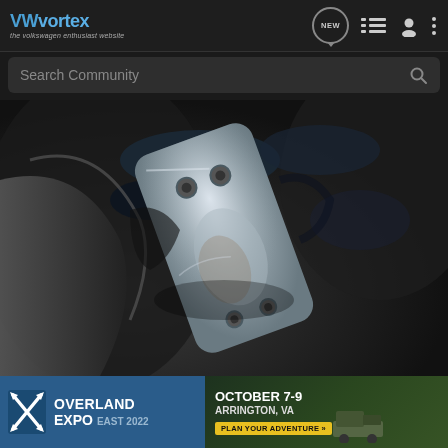VWvortex — the volkswagen enthusiast website
[Figure (screenshot): VWvortex mobile website navigation bar with logo, NEW chat icon, list icon, person icon, and dots menu icon]
Search Community
[Figure (photo): Close-up photo of a metal automotive bracket or heat shield mounted under a car, showing shiny metal surface with bolt holes, surrounded by dark greasy underbody surfaces]
[Figure (photo): Overland Expo East 2022 advertisement banner - October 7-9, Arrington, VA - Plan Your Adventure]